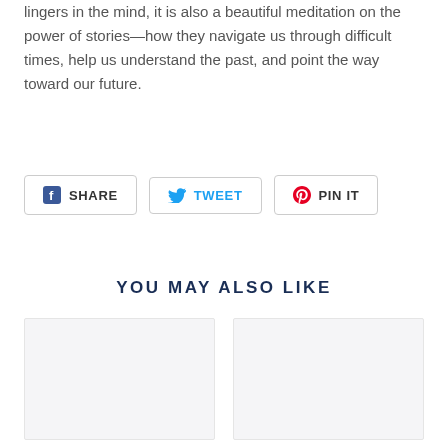lingers in the mind, it is also a beautiful meditation on the power of stories—how they navigate us through difficult times, help us understand the past, and point the way toward our future.
SHARE | TWEET | PIN IT
YOU MAY ALSO LIKE
[Figure (other): Two placeholder product/article cards side by side]
[Figure (other): Second placeholder product/article card]